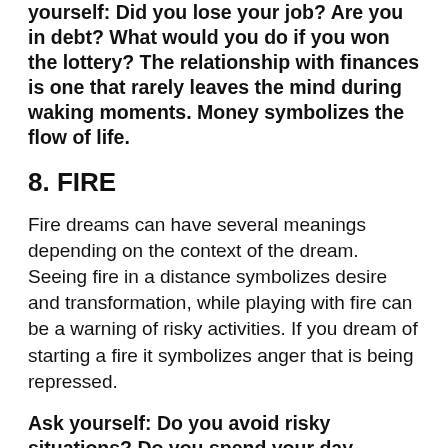yourself: Did you lose your job? Are you in debt? What would you do if you won the lottery? The relationship with finances is one that rarely leaves the mind during waking moments. Money symbolizes the flow of life.
8. FIRE
Fire dreams can have several meanings depending on the context of the dream. Seeing fire in a distance symbolizes desire and transformation, while playing with fire can be a warning of risky activities. If you dream of starting a fire it symbolizes anger that is being repressed.
Ask yourself: Do you avoid risky situations? Do you spend your day putting out fires?
9. NAKED